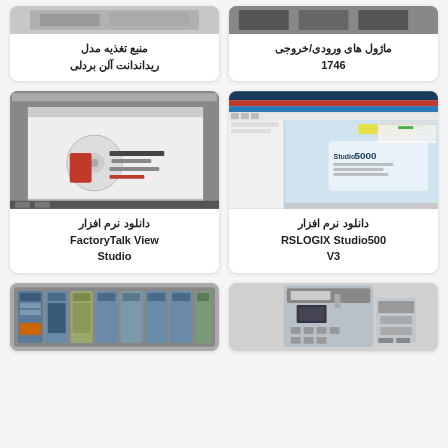[Figure (screenshot): Partial image of Allen-Bradley power supply module]
منبع تغذیه مدل ریداندانت آلن بردلی
[Figure (screenshot): Partial image of 1746 I/O modules]
ماژول های ورودی/خروجی 1746
[Figure (screenshot): FactoryTalk View Studio software splash screen]
دانلود نرم افزار FactoryTalk View Studio
[Figure (screenshot): RSLOGIX Studio 5000 V3 software interface screenshot]
دانلود نرم افزار RSLOGIX Studio500 V3
[Figure (photo): PLC rack with multiple I/O modules]
[Figure (photo): Industrial drive or controller unit]